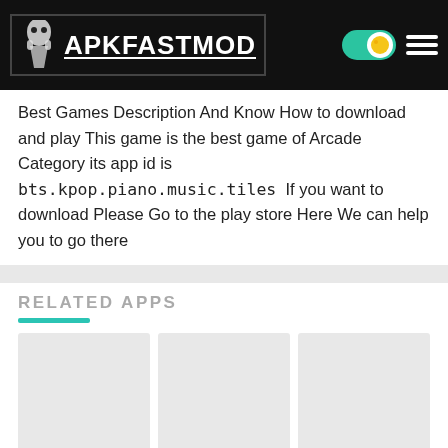APKFASTMOD
Best Games Description And Know How to download and play This game is the best game of Arcade Category its app id is bts.kpop.piano.music.tiles  If you want to download Please Go to the play store Here We can help you to go there
RELATED APPS
[Figure (other): App card placeholder image for Magic Chess: Bang...]
Magic Chess: Bang...
[Figure (other): App card placeholder image for Battle Chess 3D M...]
Battle Chess 3D M...
[Figure (other): App card placeholder image for Tattoo Master MO...]
Tattoo Master MO...